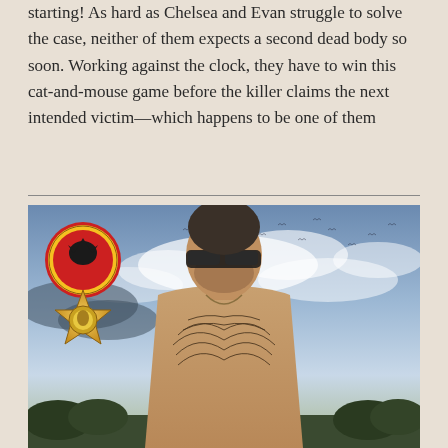starting! As hard as Chelsea and Evan struggle to solve the case, neither of them expects a second dead body so soon. Working against the clock, they have to win this cat-and-mouse game before the killer claims the next intended victim—which happens to be one of them
[Figure (photo): Book cover image showing a muscular shirtless man with sunglasses and chest tattoo, birds flying in a dramatic cloudy sky background, with a Doberman badge/seal in the upper left and a sheriff star badge below it]